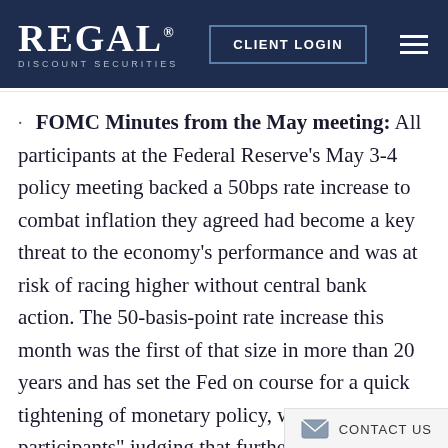REGAL DISCOUNT SECURITIES — CLIENT LOGIN
FOMC Minutes from the May meeting: All participants at the Federal Reserve's May 3-4 policy meeting backed a 50bps rate increase to combat inflation they agreed had become a key threat to the economy's performance and was at risk of racing higher without central bank action. The 50-basis-point rate increase this month was the first of that size in more than 20 years and has set the Fed on course for a quick tightening of monetary policy, with "most participants" judging that further half-percentage-point increases would be "appropriate" at upcoming Fed sessions in June and